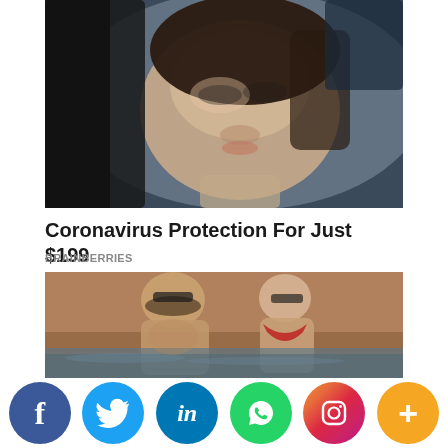[Figure (photo): Close-up photo of a woman's face wearing a black helmet or protective gear, smiling slightly, with dark hair visible]
Coronavirus Protection For Just $199
BRAINBERRIES
[Figure (photo): Stylized/HDR photo of a muscular shirtless man with beard and sunglasses and a woman wearing a red bikini top, both standing in water, with a textured brick wall background]
[Figure (infographic): Social media share buttons row: Facebook (f), Twitter (bird), LinkedIn (in), WhatsApp, Instagram, and more (+) buttons]